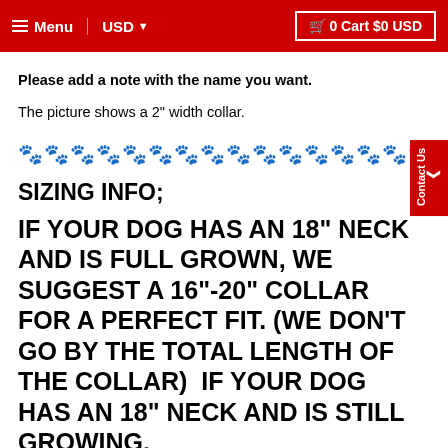Menu  USD  0 Cart $0 USD
Please add a note with the name you want.
The picture shows a 2" width collar.
[Figure (illustration): Decorative row of paw print emoji characters as a divider]
SIZING INFO;
IF YOUR DOG HAS AN 18" NECK AND IS FULL GROWN, WE SUGGEST A 16"-20" COLLAR FOR A PERFECT FIT. (WE DON'T GO BY THE TOTAL LENGTH OF THE COLLAR)  IF YOUR DOG HAS AN 18" NECK AND IS STILL GROWING,